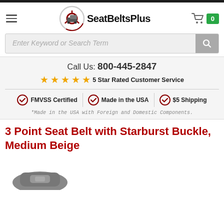SeatBeltsPlus website header
Enter Keyword or Search Term
Call Us: 800-445-2847
★★★★★ 5 Star Rated Customer Service
✓ FMVSS Certified | ✓ Made in the USA | ✓ $5 Shipping
*Made in the USA with Foreign and Domestic Components.
3 Point Seat Belt with Starburst Buckle, Medium Beige
[Figure (photo): Partial view of a seat belt product photo at the bottom of the page]